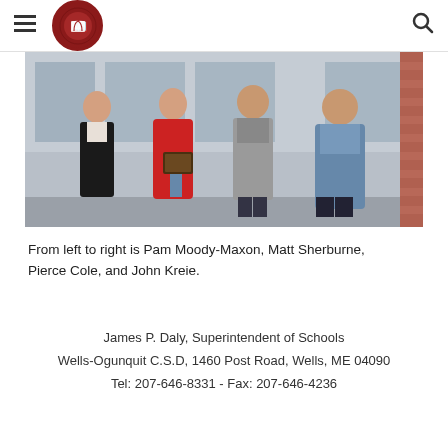Wells-Ogunquit school district website header with hamburger menu, logo, and search icon
[Figure (photo): Group photo of four people standing in front of a building: Pam Moody-Maxon, Matt Sherburne, Pierce Cole, and John Kreie. The person in the middle is holding a plaque award.]
From left to right is Pam Moody-Maxon, Matt Sherburne, Pierce Cole, and John Kreie.
James P. Daly, Superintendent of Schools
Wells-Ogunquit C.S.D, 1460 Post Road, Wells, ME 04090
Tel: 207-646-8331 - Fax: 207-646-4236